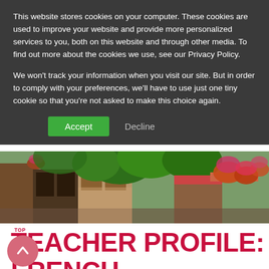This website stores cookies on your computer. These cookies are used to improve your website and provide more personalized services to you, both on this website and through other media. To find out more about the cookies we use, see our Privacy Policy.
We won't track your information when you visit our site. But in order to comply with your preferences, we'll have to use just one tiny cookie so that you're not asked to make this choice again.
Accept   Decline
[Figure (photo): Street scene with colorful buildings, hanging flower baskets, awnings, and lush green trees lining a narrow European-style street]
TEACHER PROFILE: FRENCH TEACHER BRIGHTON